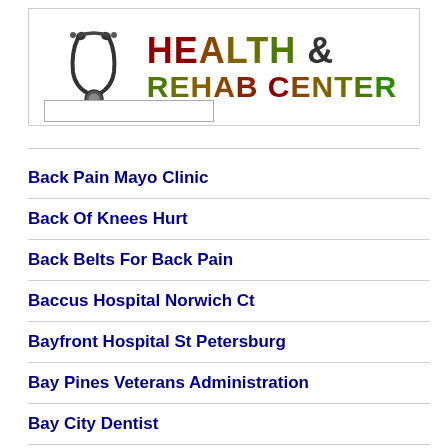[Figure (logo): Health & Rehab Center logo with stethoscope icon and colorful gradient text]
Back Pain Mayo Clinic
Back Of Knees Hurt
Back Belts For Back Pain
Baccus Hospital Norwich Ct
Bayfront Hospital St Petersburg
Bay Pines Veterans Administration
Bay City Dentist
Bay Area Hospitals